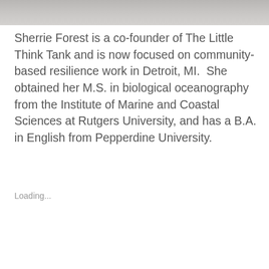[Figure (photo): Partial view of a person's photo, cropped at the top of the page, showing the lower portion of a face/shoulders in grayscale.]
Sherrie Forest is a co-founder of The Little Think Tank and is now focused on community-based resilience work in Detroit, MI.  She obtained her M.S. in biological oceanography from the Institute of Marine and Coastal Sciences at Rutgers University, and has a B.A. in English from Pepperdine University.
Loading...